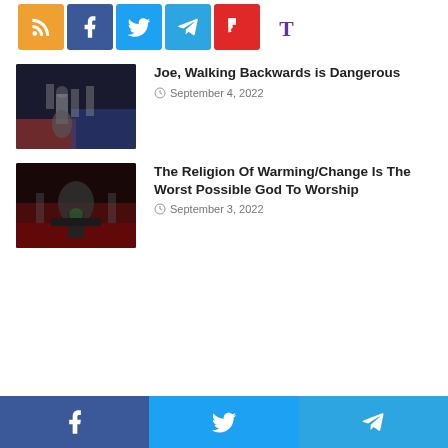[Figure (infographic): Social media share buttons row: RSS (orange), Facebook (blue), Twitter (light blue), Telegram (blue), Flipboard (red), Tumblr (purple T)]
[Figure (photo): Dark image showing a figure at a podium with red and blue lighting]
Joe, Walking Backwards is Dangerous
September 4, 2022
[Figure (photo): Dark image showing a figure at a presidential podium with red lighting backdrop]
The Religion Of Warming/Change Is The Worst Possible God To Worship
September 3, 2022
[Figure (infographic): Bottom share bar with Facebook, Twitter, and Telegram buttons]